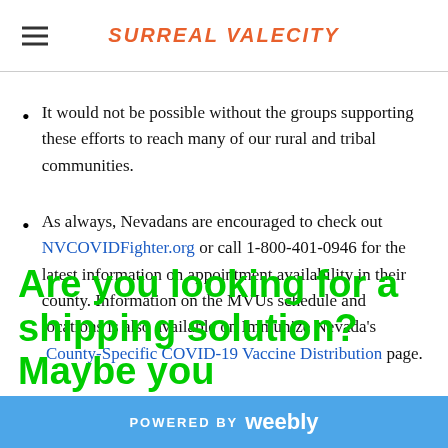SURREAL VALECITY
It would not be possible without the groups supporting these efforts to reach many of our rural and tribal communities.
As always, Nevadans are encouraged to check out NVCOVIDFighter.org or call 1-800-401-0946 for the latest information on appointment availability in their county. Information on the MVUs schedule and locations is also available on Immunize Nevada's County-Specific COVID-19 Vaccine Distribution page.
Are you looking for a shipping solution? Maybe you
POWERED BY weebly